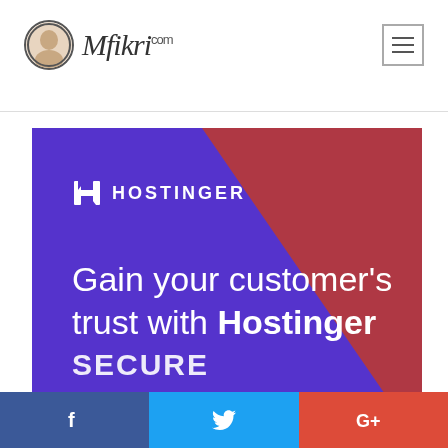[Figure (logo): Mfikri.com website logo with face avatar and handwritten-style brand name]
[Figure (illustration): Hostinger advertisement banner with purple and red diagonal background. Shows Hostinger logo and text: 'Gain your customer's trust with Hostinger' and partial 'SECURE' text at bottom.]
[Figure (infographic): Social sharing bar at bottom with Facebook, Twitter, and Google Plus icons]